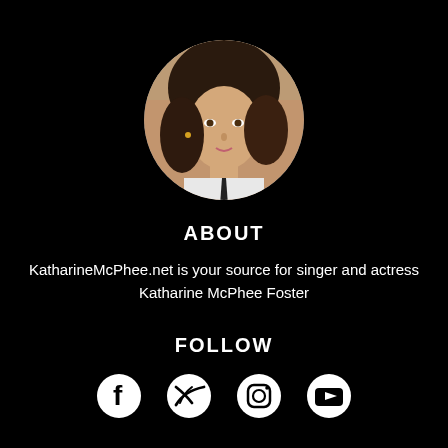[Figure (photo): Circular profile photo of Katharine McPhee Foster, a woman with dark brown shoulder-length hair wearing a white shirt and dark tie]
ABOUT
KatharineMcPhee.net is your source for singer and actress Katharine McPhee Foster
FOLLOW
[Figure (illustration): Social media icons: Facebook, Twitter, Instagram, YouTube]